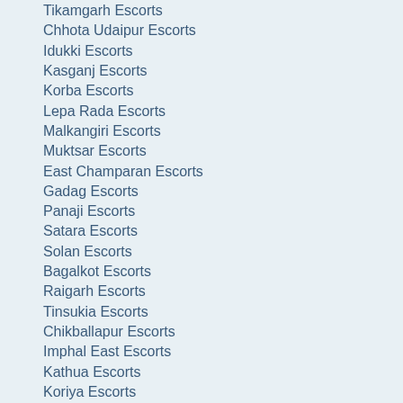Tikamgarh Escorts
Chhota Udaipur Escorts
Idukki Escorts
Kasganj Escorts
Korba Escorts
Lepa Rada Escorts
Malkangiri Escorts
Muktsar Escorts
East Champaran Escorts
Gadag Escorts
Panaji Escorts
Satara Escorts
Solan Escorts
Bagalkot Escorts
Raigarh Escorts
Tinsukia Escorts
Chikballapur Escorts
Imphal East Escorts
Kathua Escorts
Koriya Escorts
Lohardaga Escorts
Mamit Escorts
Mumbai Escorts